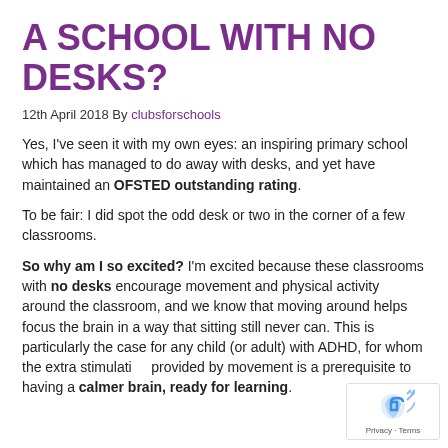A SCHOOL WITH NO DESKS?
12th April 2018 By clubsforschools
Yes, I've seen it with my own eyes: an inspiring primary school which has managed to do away with desks, and yet have maintained an OFSTED outstanding rating.
To be fair: I did spot the odd desk or two in the corner of a few classrooms.
So why am I so excited? I'm excited because these classrooms with no desks encourage movement and physical activity around the classroom, and we know that moving around helps focus the brain in a way that sitting still never can. This is particularly the case for any child (or adult) with ADHD, for whom the extra stimulation provided by movement is a prerequisite to having a calmer brain, ready for learning.